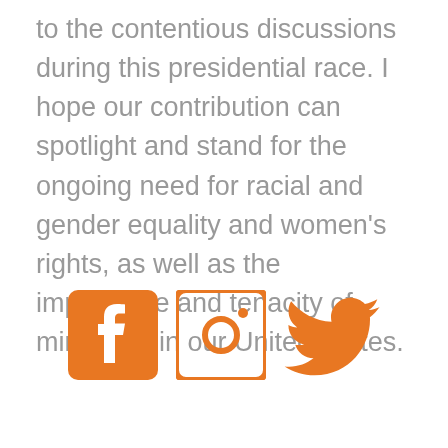to the contentious discussions during this presidential race. I hope our contribution can spotlight and stand for the ongoing need for racial and gender equality and women's rights, as well as the importance and tenacity of minorities in our United States.
[Figure (infographic): Three social media icons in orange: Facebook, Instagram, Twitter]